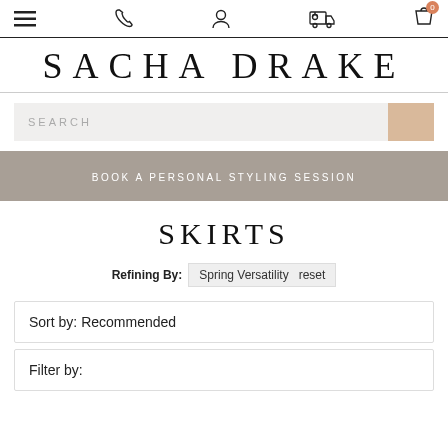Navigation bar with menu, phone, user, delivery, and cart icons
SACHA DRAKE
SEARCH
BOOK A PERSONAL STYLING SESSION
SKIRTS
Refining By: Spring Versatility reset
Sort by: Recommended
Filter by: